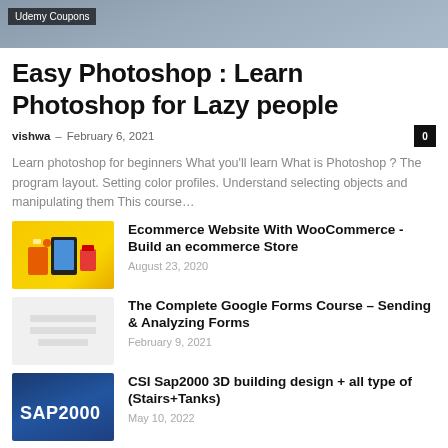[Figure (photo): Hero banner image showing a person, partially visible, with a dark overlay badge reading 'Udemy Coupons']
Easy Photoshop : Learn Photoshop for Lazy people
vishwa  –  February 6, 2021   0
Learn photoshop for beginners What you'll learn What is Photoshop ? The program layout. Setting color profiles. Understand selecting objects and manipulating them This course…
[Figure (photo): Yellow background thumbnail with ecommerce icons including a tablet and shopping bag]
Ecommerce Website With WooCommerce - Build an ecommerce Store
August 23, 2020
[Figure (photo): Light gray thumbnail with placeholder lines representing a Google Forms document]
The Complete Google Forms Course – Sending & Analyzing Forms
February 9, 2021
[Figure (photo): Dark blue thumbnail with SAP2000 logo text in white]
CSI Sap2000 3D building design + all type of (Stairs+Tanks)
May 10, 2022